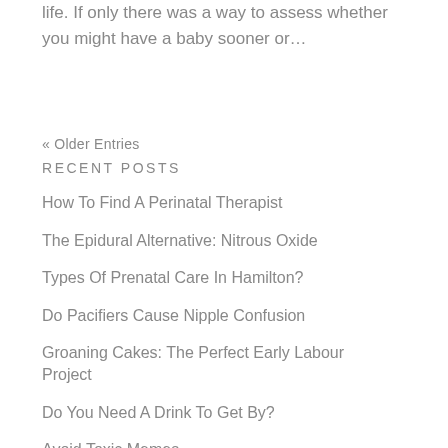life. If only there was a way to assess whether you might have a baby sooner or…
« Older Entries
RECENT POSTS
How To Find A Perinatal Therapist
The Epidural Alternative: Nitrous Oxide
Types Of Prenatal Care In Hamilton?
Do Pacifiers Cause Nipple Confusion
Groaning Cakes: The Perfect Early Labour Project
Do You Need A Drink To Get By?
Avoid Toxic Memes
Birth Trauma
5 Newborn Sleep Hacks